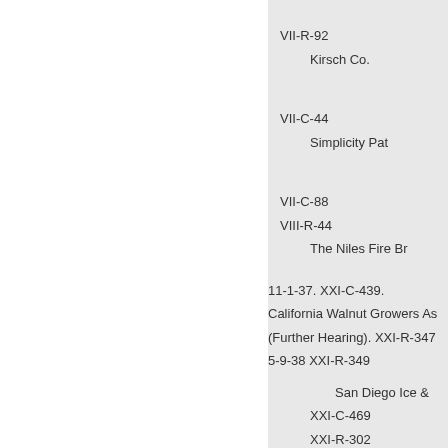VII-R-92
Kirsch Co.
VII-C-44
Simplicity Pat
VII-C-88
VIII-R-44
The Niles Fire Br
11-1-37. XXI-C-439.
California Walnut Growers As
(Further Hearing). XXI-R-347
5-9-38 XXI-R-349
San Diego Ice &
XXI-C-469
XXI-R-302
Shell Oil Co
11-22-37. XXI-C-442